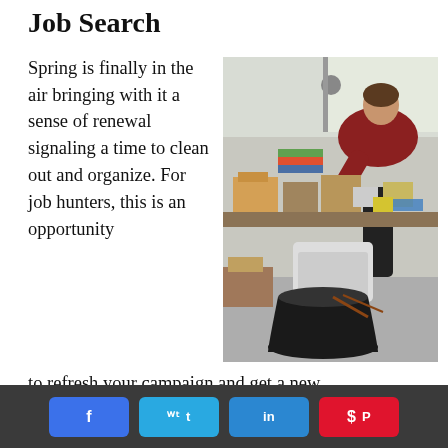Job Search
Spring is finally in the air bringing with it a sense of renewal signaling a time to clean out and organize. For job hunters, this is an opportunity to refresh your campaign and get a new
[Figure (photo): A person leaning over a cluttered table covered with boxes, papers, and miscellaneous items, appearing to sort or organize the mess. A black trash can is visible in the foreground.]
Facebook share, Twitter share, LinkedIn share, Pinterest share buttons